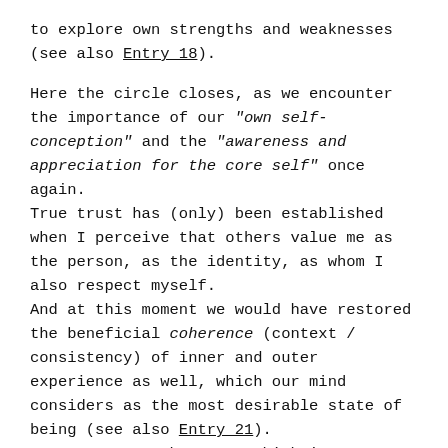to explore own strengths and weaknesses (see also Entry 18).
Here the circle closes, as we encounter the importance of our "own self-conception" and the "awareness and appreciation for the core self" once again.
True trust has (only) been established when I perceive that others value me as the person, as the identity, as whom I also respect myself.
And at this moment we would have restored the beneficial coherence (context / consistency) of inner and outer experience as well, which our mind considers as the most desirable state of being (see also Entry 21).
In any case, coherence, which in turn can serve as a compass for all of our other relationship skills, which enables us to better contribute to a common balance of mutual well-being and personal happiness.